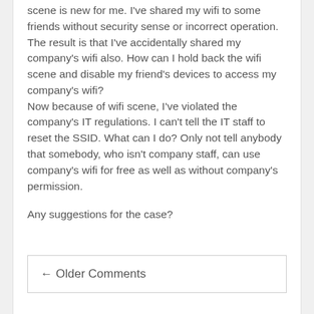scene is new for me. I've shared my wifi to some friends without security sense or incorrect operation.
The result is that I've accidentally shared my company's wifi also. How can I hold back the wifi scene and disable my friend's devices to access my company's wifi?
Now because of wifi scene, I've violated the company's IT regulations. I can't tell the IT staff to reset the SSID. What can I do? Only not tell anybody that somebody, who isn't company staff, can use company's wifi for free as well as without company's permission.
Any suggestions for the case?
← Older Comments